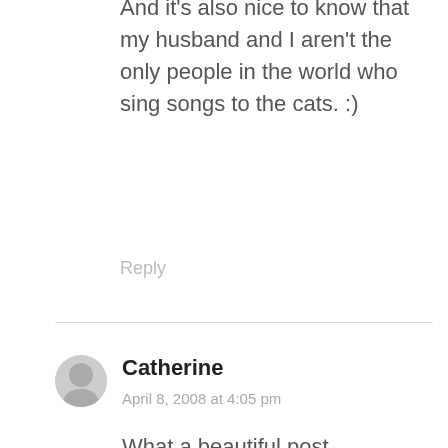And it's also nice to know that my husband and I aren't the only people in the world who sing songs to the cats. :)
Reply
Catherine
April 8, 2008 at 4:05 pm
What a beautiful post.
Reply
Jonathan
April 8, 2008 at 4:05 pm